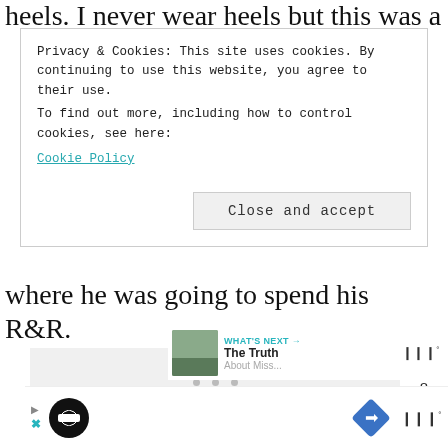heels. I never wear heels but this was a
Privacy & Cookies: This site uses cookies. By continuing to use this website, you agree to their use.
To find out more, including how to control cookies, see here:
Cookie Policy
Close and accept
where he was going to spend his R&R.
[Figure (other): Social sharing sidebar with heart/like button (teal, count: 8) and share button]
[Figure (other): What's Next banner: thumbnail image, label 'WHAT'S NEXT →', title 'The Truth', subtitle 'About Miss...' and brand logo]
[Figure (other): Bottom advertisement banner with play button, circular black logo, navigation diamond icon and brand logo with superscript degree symbol]